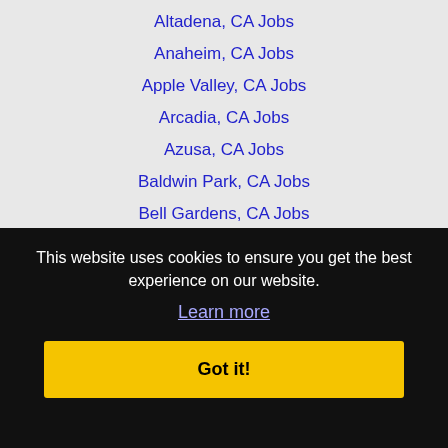Altadena, CA Jobs
Anaheim, CA Jobs
Apple Valley, CA Jobs
Arcadia, CA Jobs
Azusa, CA Jobs
Baldwin Park, CA Jobs
Bell Gardens, CA Jobs
Bellflower, CA Jobs
Beverly Hills, CA Jobs
Buena Park, CA Jobs
Burbank, CA Jobs
This website uses cookies to ensure you get the best experience on our website.
Learn more
Got it!
Calabasas, CA Jobs
Catalina Island, CA Jobs
Chino, CA Jobs
Chino Hills, CA Jobs
Chula Vista, CA Jobs